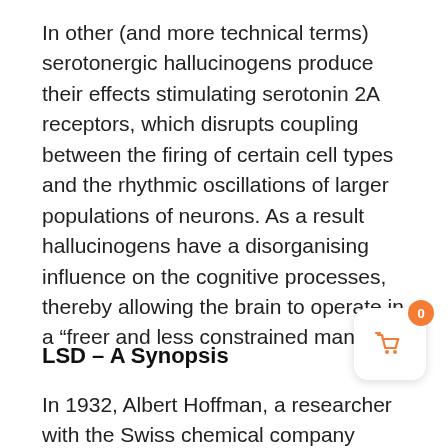In other (and more technical terms) serotonergic hallucinogens produce their effects stimulating serotonin 2A receptors, which disrupts coupling between the firing of certain cell types and the rhythmic oscillations of larger populations of neurons. As a result hallucinogens have a disorganising influence on the cognitive processes, thereby allowing the brain to operate in a “freer and less constrained manner”.
[Figure (illustration): Shopping cart widget showing badge with number 0 and an orange basket icon]
LSD – A Synopsis
In 1932, Albert Hoffman, a researcher with the Swiss chemical company Sandoz, first